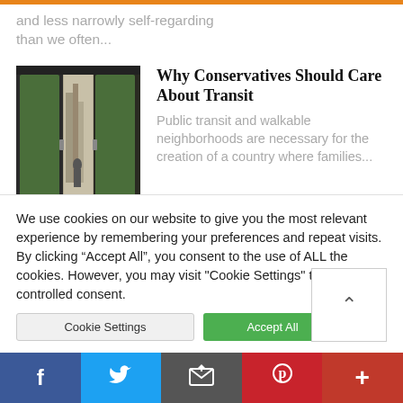and less narrowly self-regarding than we often...
Why Conservatives Should Care About Transit
Public transit and walkable neighborhoods are necessary for the creation of a country where families...
[Figure (photo): Photo of a tram or bus door entrance with street scene visible through the doors]
[Figure (photo): Partial view of a second article thumbnail, greenish outdoor scene]
Why... (partial title of second article, truncated)
We use cookies on our website to give you the most relevant experience by remembering your preferences and repeat visits. By clicking “Accept All”, you consent to the use of ALL the cookies. However, you may visit "Cookie Settings" to provide a controlled consent.